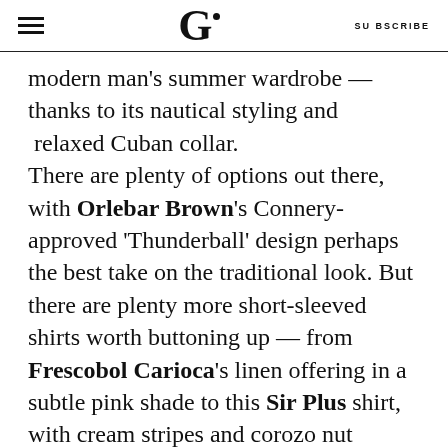G SUBSCRIBE
modern man’s summer wardrobe — thanks to its nautical styling and  relaxed Cuban collar.
There are plenty of options out there, with Orlebar Brown’s Connery-approved ‘Thunderball’ design perhaps the best take on the traditional look. But there are plenty more short-sleeved shirts worth buttoning up — from Frescobol Carioca’s linen offering in a subtle pink shade to this Sir Plus shirt, with cream stripes and corozo nut buttons.